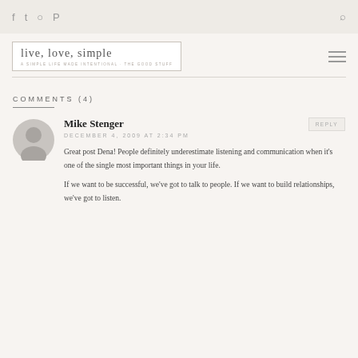Social icons: Facebook, Twitter, Instagram, Pinterest; Search icon
[Figure (logo): Live, Love, Simple blog logo with cursive text in a bordered box]
COMMENTS (4)
Mike Stenger
DECEMBER 4, 2009 AT 2:34 PM
Great post Dena! People definitely underestimate listening and communication when it's one of the single most important things in your life.
If we want to be successful, we've got to talk to people. If we want to build relationships, we've got to listen.